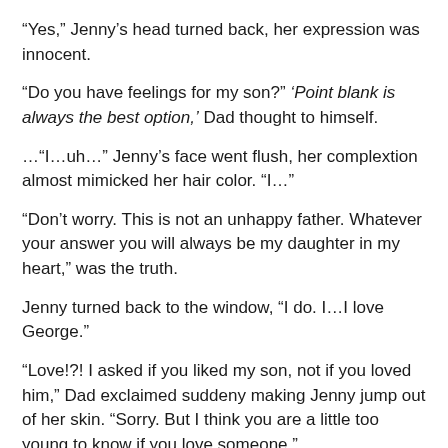“Yes,” Jenny’s head turned back, her expression was innocent.
“Do you have feelings for my son?” ‘Point blank is always the best option,’ Dad thought to himself.
…“I…uh…” Jenny’s face went flush, her complextion almost mimicked her hair color. “I…”
“Don’t worry. This is not an unhappy father. Whatever your answer you will always be my daughter in my heart,” was the truth.
Jenny turned back to the window, “I do. I…I love George.”
“Love!?! I asked if you liked my son, not if you loved him,” Dad exclaimed suddeny making Jenny jump out of her skin. “Sorry. But I think you are a little too young to know if you love someone.”